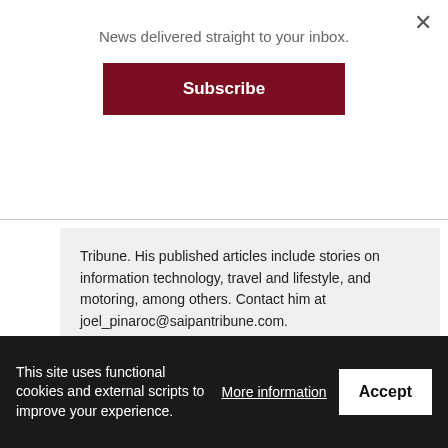News delivered straight to your inbox.
Subscribe
Tribune. His published articles include stories on information technology, travel and lifestyle, and motoring, among others. Contact him at joel_pinaroc@saipantribune.com.
Previous Story
Kanoa Resort joins DPW's adopt-a-highway program
This site uses functional cookies and external scripts to improve your experience.
More information
Accept